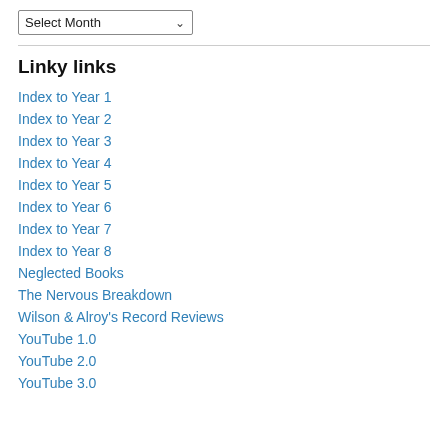[Figure (other): A dropdown select widget labeled 'Select Month' with a chevron arrow]
Linky links
Index to Year 1
Index to Year 2
Index to Year 3
Index to Year 4
Index to Year 5
Index to Year 6
Index to Year 7
Index to Year 8
Neglected Books
The Nervous Breakdown
Wilson & Alroy's Record Reviews
YouTube 1.0
YouTube 2.0
YouTube 3.0